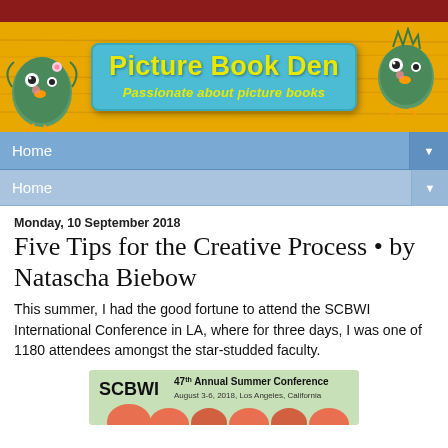[Figure (illustration): Picture Book Den website banner with yellow wood background, blue sign reading 'Picture Book Den - Passionate about picture books', with two fuzzy blue bird/monster characters on left and right.]
Home ▼
Home ▼
Monday, 10 September 2018
Five Tips for the Creative Process • by Natascha Biebow
This summer, I had the good fortune to attend the SCBWI International Conference in LA, where for three days, I was one of 1180 attendees amongst the star-studded faculty.
[Figure (illustration): SCBWI 47th Annual Summer Conference banner, August 3-6, 2018, Los Angeles, California, with illustrated characters at the bottom.]